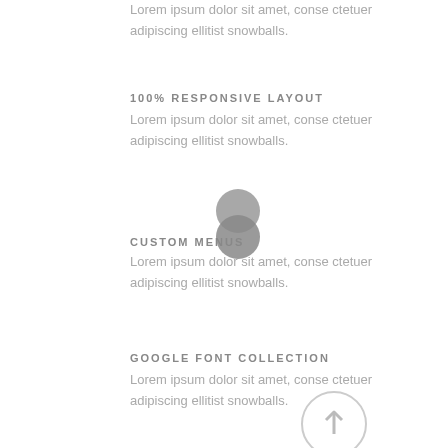Lorem ipsum dolor sit amet, conse ctetuer adipiscing ellitist snowballs.
100% RESPONSIVE LAYOUT
Lorem ipsum dolor sit amet, conse ctetuer adipiscing ellitist snowballs.
[Figure (illustration): Two overlapping gray circles icon]
CUSTOM MENUS
Lorem ipsum dolor sit amet, conse ctetuer adipiscing ellitist snowballs.
GOOGLE FONT COLLECTION
Lorem ipsum dolor sit amet, conse ctetuer adipiscing ellitist snowballs.
[Figure (illustration): Circular arrow up icon, light gray]